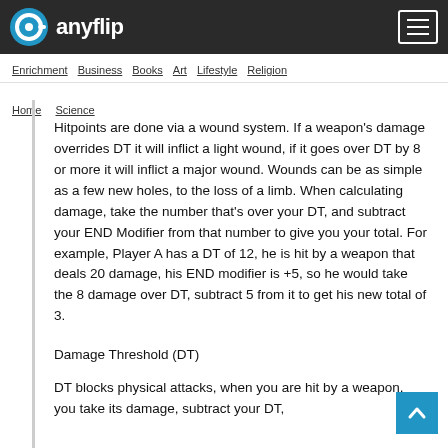anyflip
Enrichment  Business  Books  Art  Lifestyle  Religion
Home  Science
Hitpoints are done via a wound system. If a weapon's damage overrides DT it will inflict a light wound, if it goes over DT by 8 or more it will inflict a major wound. Wounds can be as simple as a few new holes, to the loss of a limb. When calculating damage, take the number that's over your DT, and subtract your END Modifier from that number to give you your total. For example, Player A has a DT of 12, he is hit by a weapon that deals 20 damage, his END modifier is +5, so he would take the 8 damage over DT, subtract 5 from it to get his new total of 3.
Damage Threshold (DT)
DT blocks physical attacks, when you are hit by a weapon, you take its damage, subtract your DT,